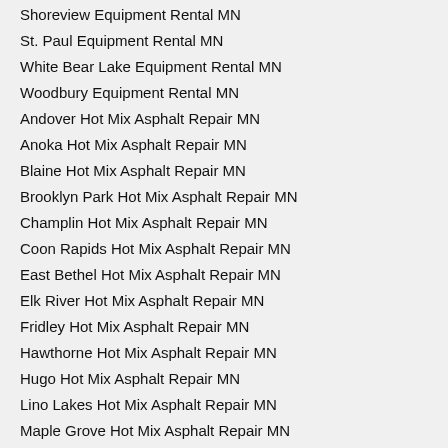Shoreview Equipment Rental MN
St. Paul Equipment Rental MN
White Bear Lake Equipment Rental MN
Woodbury Equipment Rental MN
Andover Hot Mix Asphalt Repair MN
Anoka Hot Mix Asphalt Repair MN
Blaine Hot Mix Asphalt Repair MN
Brooklyn Park Hot Mix Asphalt Repair MN
Champlin Hot Mix Asphalt Repair MN
Coon Rapids Hot Mix Asphalt Repair MN
East Bethel Hot Mix Asphalt Repair MN
Elk River Hot Mix Asphalt Repair MN
Fridley Hot Mix Asphalt Repair MN
Hawthorne Hot Mix Asphalt Repair MN
Hugo Hot Mix Asphalt Repair MN
Lino Lakes Hot Mix Asphalt Repair MN
Maple Grove Hot Mix Asphalt Repair MN